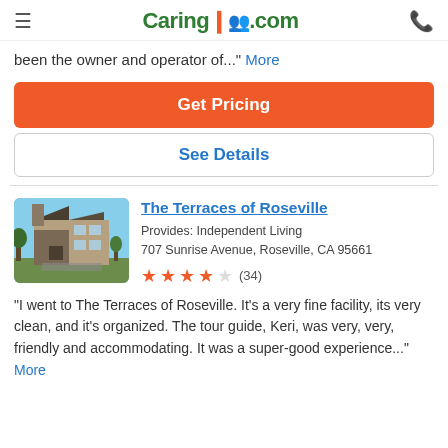Caring.com
been the owner and operator of..." More
Get Pricing
See Details
The Terraces of Roseville
Provides: Independent Living
707 Sunrise Avenue, Roseville, CA 95661
★★★★☆ (34)
"I went to The Terraces of Roseville. It's a very fine facility, its very clean, and it's organized. The tour guide, Keri, was very, very, friendly and accommodating. It was a super-good experience..." More